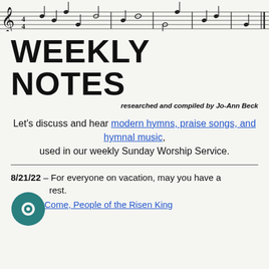[Figure (illustration): Musical staff/notation decorative header with notes and clef symbols]
WEEKLY NOTES
researched and compiled by Jo-Ann Beck
Let's discuss and hear modern hymns, praise songs, and hymnal music, used in our weekly Sunday Worship Service.
8/21/22 – For everyone on vacation, may you have a rest.
Come, People of the Risen King